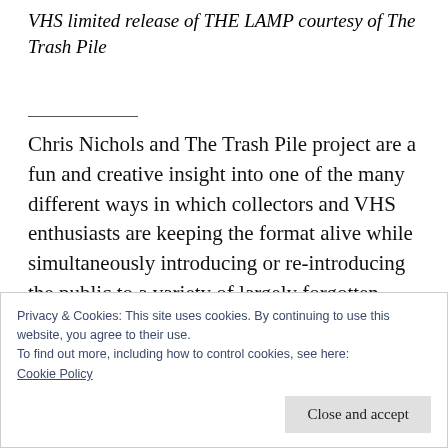VHS limited release of THE LAMP courtesy of The Trash Pile
Chris Nichols and The Trash Pile project are a fun and creative insight into one of the many different ways in which collectors and VHS enthusiasts are keeping the format alive while simultaneously introducing or re-introducing the public to a variety of largely forgotten films of yesterday. Those of us who share their
Privacy & Cookies: This site uses cookies. By continuing to use this website, you agree to their use.
To find out more, including how to control cookies, see here: Cookie Policy
Close and accept